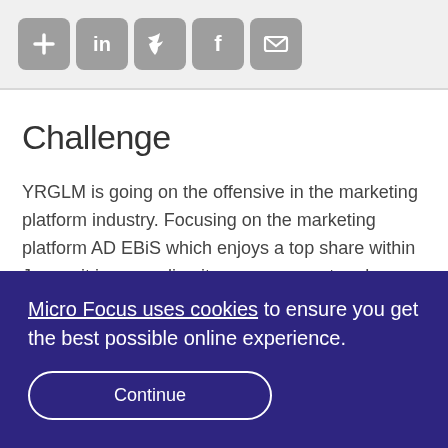[Figure (other): Social sharing icons: plus/add, LinkedIn, Twitter, Facebook, Email — grey rounded square buttons]
Challenge
YRGLM is going on the offensive in the marketing platform industry. Focusing on the marketing platform AD EBiS which enjoys a top share within Japan, it is expanding its measurement and analysis services which increase digital marketing and
Micro Focus uses cookies to ensure you get the best possible online experience.
Continue